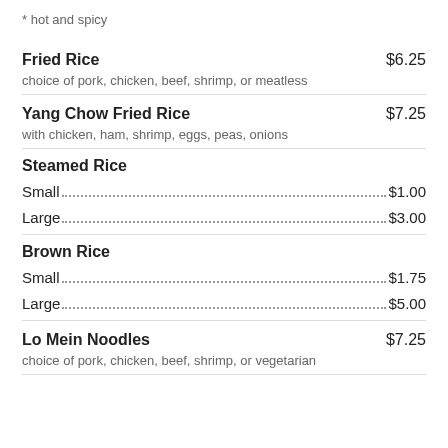* hot and spicy
Fried Rice $6.25 — choice of pork, chicken, beef, shrimp, or meatless
Yang Chow Fried Rice $7.25 — with chicken, ham, shrimp, eggs, peas, onions
Steamed Rice — Small $1.00, Large $3.00
Brown Rice — Small $1.75, Large $5.00
Lo Mein Noodles $7.25 — choice of pork, chicken, beef, shrimp, or vegetarian